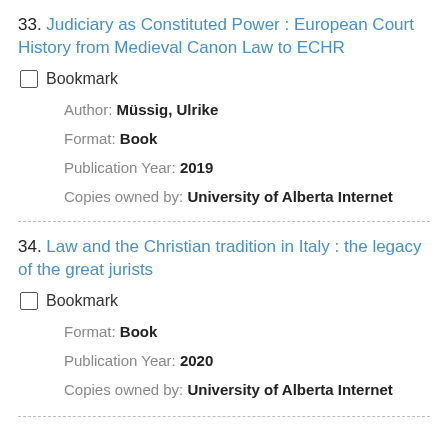33. Judiciary as Constituted Power : European Court History from Medieval Canon Law to ECHR
Bookmark
Author: Müssig, Ulrike
Format: Book
Publication Year: 2019
Copies owned by: University of Alberta Internet
34. Law and the Christian tradition in Italy : the legacy of the great jurists
Bookmark
Format: Book
Publication Year: 2020
Copies owned by: University of Alberta Internet